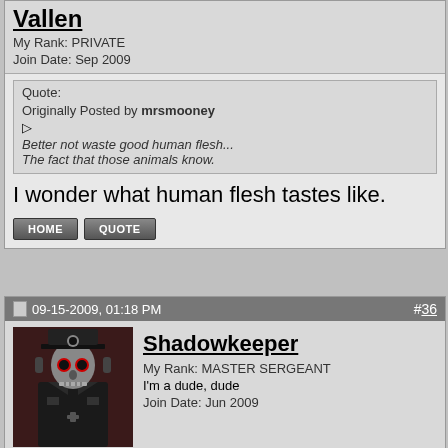Vallen
My Rank: PRIVATE
Join Date: Sep 2009
Quote:
Originally Posted by mrsmooney
Better not waste good human flesh...
The fact that those animals know.
I wonder what human flesh tastes like.
09-15-2009, 01:18 PM
#36
[Figure (photo): Avatar image of a skeletal figure wearing a Nazi officer uniform and cap, dark background.]
Shadowkeeper
My Rank: MASTER SERGEANT
I'm a dude, dude
Join Date: Jun 2009
Quote:
Originally Posted by Vallen
I wonder what human flesh tastes like.